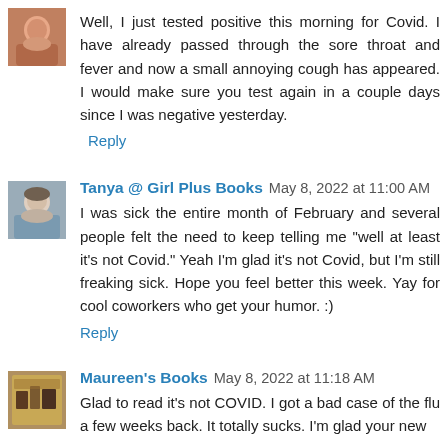Well, I just tested positive this morning for Covid. I have already passed through the sore throat and fever and now a small annoying cough has appeared. I would make sure you test again in a couple days since I was negative yesterday.
Reply
Tanya @ Girl Plus Books May 8, 2022 at 11:00 AM
I was sick the entire month of February and several people felt the need to keep telling me "well at least it's not Covid." Yeah I'm glad it's not Covid, but I'm still freaking sick. Hope you feel better this week. Yay for cool coworkers who get your humor. :)
Reply
Maureen's Books May 8, 2022 at 11:18 AM
Glad to read it's not COVID. I got a bad case of the flu a few weeks back. It totally sucks. I'm glad your new